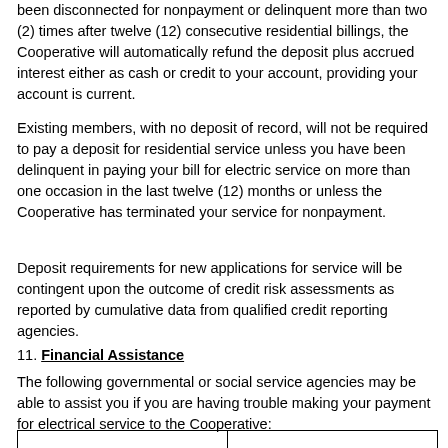been disconnected for nonpayment or delinquent more than two (2) times after twelve (12) consecutive residential billings, the Cooperative will automatically refund the deposit plus accrued interest either as cash or credit to your account, providing your account is current.
Existing members, with no deposit of record, will not be required to pay a deposit for residential service unless you have been delinquent in paying your bill for electric service on more than one occasion in the last twelve (12) months or unless the Cooperative has terminated your service for nonpayment.
Deposit requirements for new applications for service will be contingent upon the outcome of credit risk assessments as reported by cumulative data from qualified credit reporting agencies.
11. Financial Assistance
The following governmental or social service agencies may be able to assist you if you are having trouble making your payment for electrical service to the Cooperative:
|  |  |
| --- | --- |